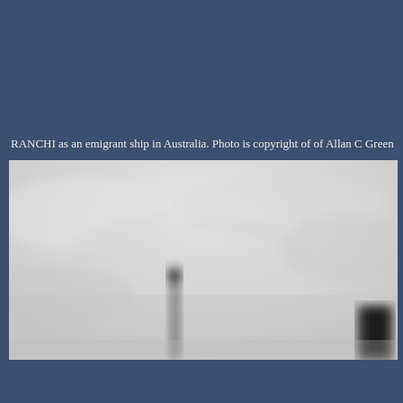RANCHI as an emigrant ship in Australia. Photo is copyright of of Allan C Green
[Figure (photo): Black and white photograph of a ship (RANCHI) in Australia. The photo shows a pale overcast sky taking up most of the frame, with the tops of two ship funnels or masts visible at the bottom — one slender dark mast/post on the left-center and a larger dark blocky funnel on the right. The image is blurry/out of focus.]